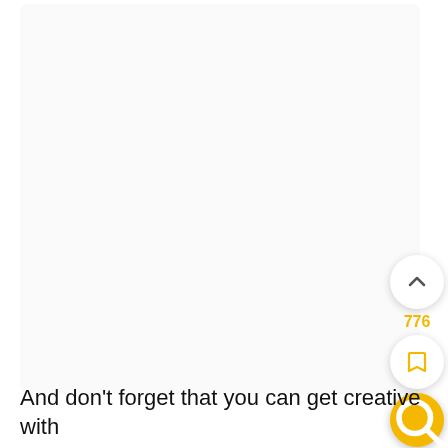[Figure (screenshot): Light gray content area box taking up most of the page, with UI overlay buttons on the right side: an upvote chevron button (white circle), a vote count '776' in yellow/gold, a bookmark button (white circle), and a yellow search/magnifier button (gold circle).]
And don't forget that you can get creative with